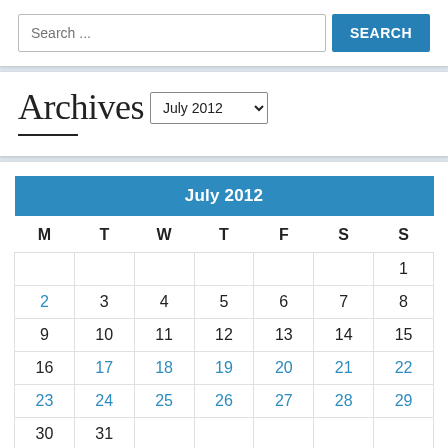[Figure (screenshot): Search bar with text input showing placeholder 'Search ...' and a blue SEARCH button]
Archives
July 2012 (dropdown selector)
| M | T | W | T | F | S | S |
| --- | --- | --- | --- | --- | --- | --- |
|  |  |  |  |  |  | 1 |
| 2 | 3 | 4 | 5 | 6 | 7 | 8 |
| 9 | 10 | 11 | 12 | 13 | 14 | 15 |
| 16 | 17 | 18 | 19 | 20 | 21 | 22 |
| 23 | 24 | 25 | 26 | 27 | 28 | 29 |
| 30 | 31 |  |  |  |  |  |